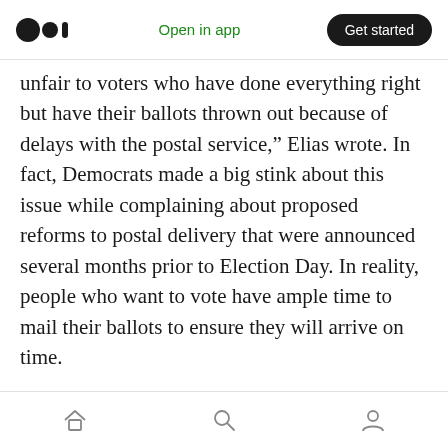Open in app | Get started
unfair to voters who have done everything right but have their ballots thrown out because of delays with the postal service," Elias wrote. In fact, Democrats made a big stink about this issue while complaining about proposed reforms to postal delivery that were announced several months prior to Election Day. In reality, people who want to vote have ample time to mail their ballots to ensure they will arrive on time.
SIGNATURE MATCHING: Elias would handle this problem as follows: “Absentee ballots with questionable signatures should be reviewed by
home | search | profile